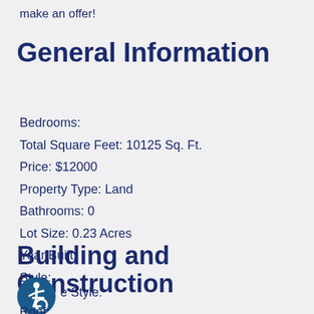make an offer!
General Information
Bedrooms:
Total Square Feet: 10125 Sq. Ft.
Price: $12000
Property Type: Land
Bathrooms: 0
Lot Size: 0.23 Acres
Year Built:
Style:
Building and Construction
[Figure (illustration): Wheelchair accessibility icon — circular blue badge with white wheelchair user symbol]
e Style:
Roof: